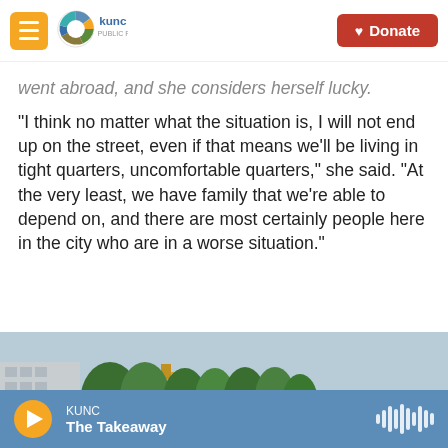KUNC (logo) | Donate
went abroad, and she considers herself lucky.

"I think no matter what the situation is, I will not end up on the street, even if that means we'll be living in tight quarters, uncomfortable quarters," she said. "At the very least, we have family that we're able to depend on, and there are most certainly people here in the city who are in a worse situation."
[Figure (photo): Street scene showing a person walking along a road next to a long row of modular/container buildings on the right, trees in the background, and an apartment building visible on the left.]
KUNC | The Takeaway